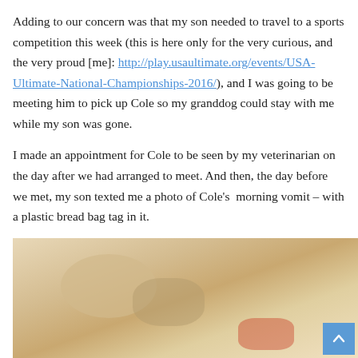Adding to our concern was that my son needed to travel to a sports competition this week (this is here only for the very curious, and the very proud [me]: http://play.usaultimate.org/events/USA-Ultimate-National-Championships-2016/), and I was going to be meeting him to pick up Cole so my granddog could stay with me while my son was gone.

I made an appointment for Cole to be seen by my veterinarian on the day after we had arranged to meet. And then, the day before we met, my son texted me a photo of Cole's  morning vomit – with a plastic bread bag tag in it.
[Figure (photo): Close-up photo of what appears to be a dog's fur or face, light/cream colored, with a small reddish element visible at the bottom]